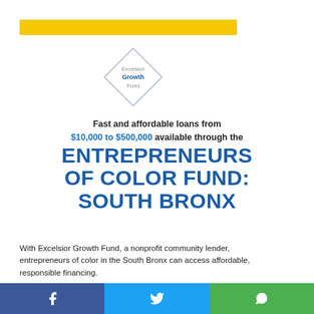[Figure (logo): Yellow horizontal bar at top of page]
[Figure (logo): Excelsior Growth Fund diamond logo with text 'Excelsior Growth Fund' inside a diamond shape outline]
Fast and affordable loans from $10,000 to $500,000 available through the
ENTREPRENEURS OF COLOR FUND: SOUTH BRONX
With Excelsior Growth Fund, a nonprofit community lender, entrepreneurs of color in the South Bronx can access affordable, responsible financing.
WHAT WE OFFER
Loans from $10,000 to $500,000
Free one-on-one support to help you
[Figure (logo): Social share footer bar with Facebook, Twitter, and WhatsApp icons]